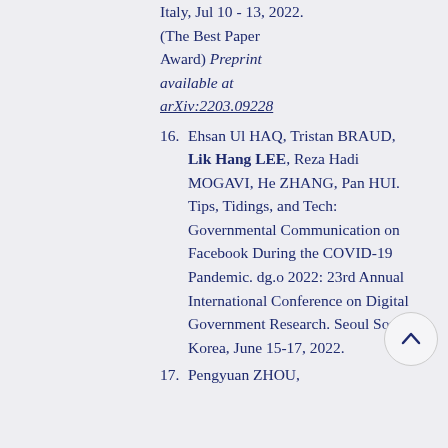Italy, Jul 10 - 13, 2022. (The Best Paper Award) Preprint available at arXiv:2203.09228
16. Ehsan Ul HAQ, Tristan BRAUD, Lik Hang LEE, Reza Hadi MOGAVI, He ZHANG, Pan HUI. Tips, Tidings, and Tech: Governmental Communication on Facebook During the COVID-19 Pandemic. dg.o 2022: 23rd Annual International Conference on Digital Government Research. Seoul South Korea, June 15-17, 2022.
17. Pengyuan ZHOU,